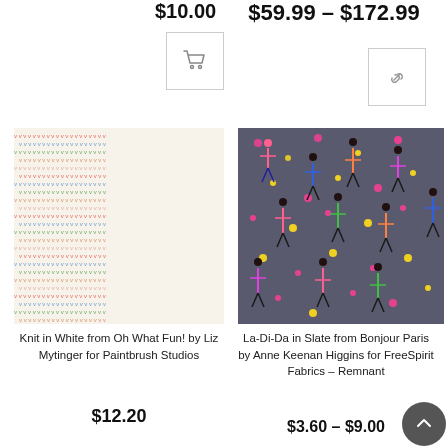$10.00 (truncated) [top-left price, partial]
$59.99 – $172.99
[Figure (illustration): Shopping cart icon button]
[Figure (illustration): Link/chain icon button]
[Figure (photo): Knit in White fabric from Oh What Fun! by Liz Mytinger – cream background with small colorful heart/arrow motifs in rows]
[Figure (photo): La-Di-Da in Slate fabric – dark grey background with illustrated fashionable women figures and small flowers in pink and yellow]
Knit in White from Oh What Fun! by Liz Mytinger for Paintbrush Studios
La-Di-Da in Slate from Bonjour Paris by Anne Keenan Higgins for FreeSpirit Fabrics – Remnant
$12.20
$3.60 – $9.00
[Figure (illustration): Scroll to top chevron up button, dark grey circle]